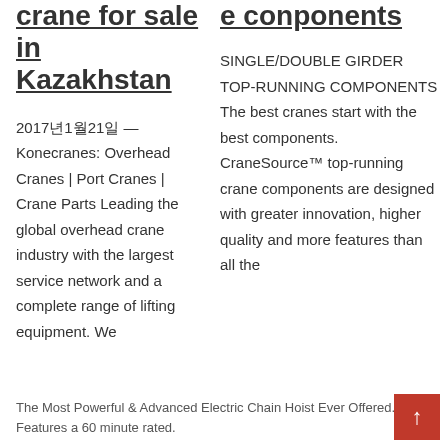crane for sale in Kazakhstan
e conponents
2017년1월21일 — Konecranes: Overhead Cranes | Port Cranes | Crane Parts Leading the global overhead crane industry with the largest service network and a complete range of lifting equipment. We
SINGLE/DOUBLE GIRDER TOP-RUNNING COMPONENTS The best cranes start with the best components. CraneSource™ top-running crane components are designed with greater innovation, higher quality and more features than all the
The Most Powerful & Advanced Electric Chain Hoist Ever Offered. Features a 60 minute rated.